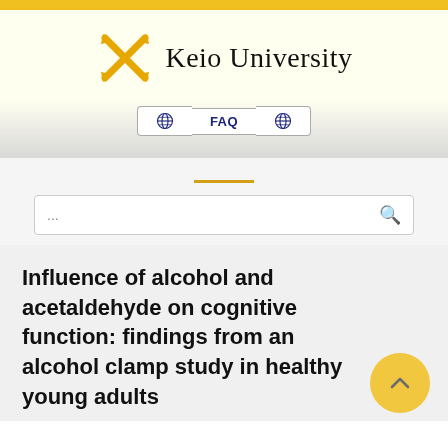[Figure (logo): Keio University logo with crossed pen nibs in gold and university name in serif font]
[Figure (screenshot): Navigation buttons with globe icons and FAQ label]
[Figure (screenshot): Search bar with ellipsis placeholder and magnifying glass icon]
Influence of alcohol and acetaldehyde on cognitive function: findings from an alcohol clamp study in healthy young adults